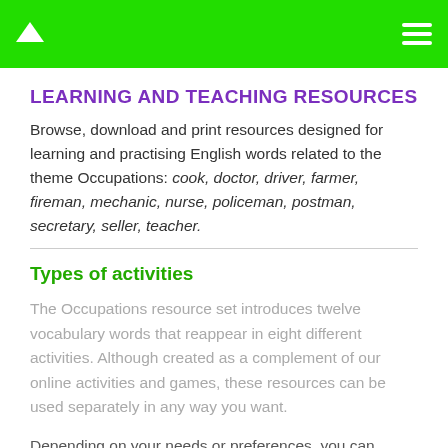▲  ≡
LEARNING AND TEACHING RESOURCES
Browse, download and print resources designed for learning and practising English words related to the theme Occupations: cook, doctor, driver, farmer, fireman, mechanic, nurse, policeman, postman, secretary, seller, teacher.
Types of activities
The Occupations resource set introduces twelve vocabulary words that reappear in eight different activities. Although created as a complement of our online activities and games, these resources can be used separately in any way you want.
Depending on your needs or preferences, you can